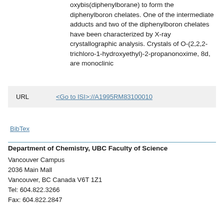oxybis(diphenylborane) to form the diphenylboron chelates. One of the intermediate adducts and two of the diphenylboron chelates have been characterized by X-ray crystallographic analysis. Crystals of O-(2,2,2-trichloro-1-hydroxyethyl)-2-propanonoxime, 8d, are monoclinic
| URL | <Go to ISI>://A1995RM83100010 |
| --- | --- |
BibTex
Department of Chemistry, UBC Faculty of Science
Vancouver Campus
2036 Main Mall
Vancouver, BC Canada V6T 1Z1
Tel: 604.822.3266
Fax: 604.822.2847